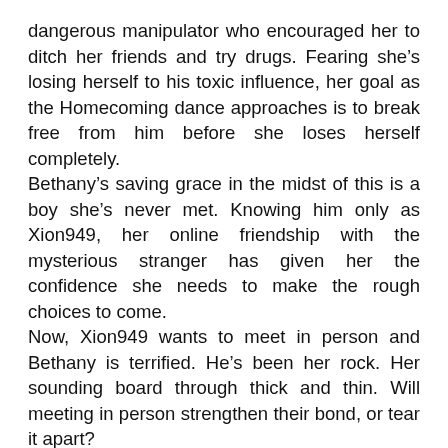dangerous manipulator who encouraged her to ditch her friends and try drugs. Fearing she's losing herself to his toxic influence, her goal as the Homecoming dance approaches is to break free from him before she loses herself completely. Bethany's saving grace in the midst of this is a boy she's never met. Knowing him only as Xion949, her online friendship with the mysterious stranger has given her the confidence she needs to make the rough choices to come. Now, Xion949 wants to meet in person and Bethany is terrified. He's been her rock. Her sounding board through thick and thin. Will meeting in person strengthen their bond, or tear it apart? From Rori K. Pierce comes a Young Adult romance filled with gripping twists that will leave readers gasping.